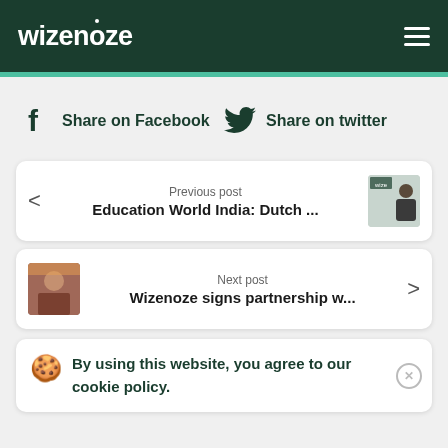wizenoze
Share on Facebook   Share on twitter
< Previous post
Education World India: Dutch ...
Next post
Wizenoze signs partnership w...  >
By using this website, you agree to our cookie policy.